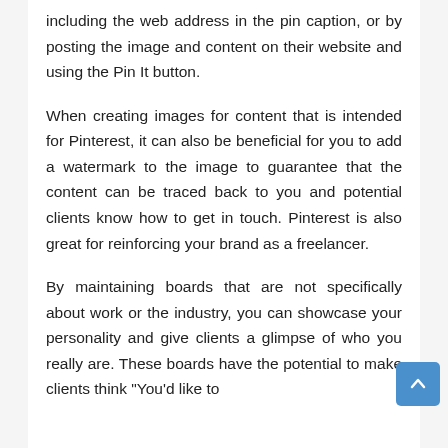including the web address in the pin caption, or by posting the image and content on their website and using the Pin It button.
When creating images for content that is intended for Pinterest, it can also be beneficial for you to add a watermark to the image to guarantee that the content can be traced back to you and potential clients know how to get in touch. Pinterest is also great for reinforcing your brand as a freelancer.
By maintaining boards that are not specifically about work or the industry, you can showcase your personality and give clients a glimpse of who you really are. These boards have the potential to make clients think "You'd like to...